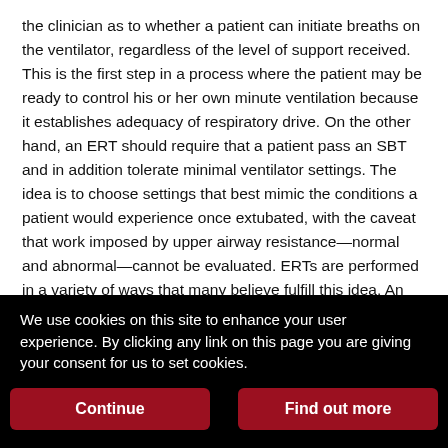the clinician as to whether a patient can initiate breaths on the ventilator, regardless of the level of support received. This is the first step in a process where the patient may be ready to control his or her own minute ventilation because it establishes adequacy of respiratory drive. On the other hand, an ERT should require that a patient pass an SBT and in addition tolerate minimal ventilator settings. The idea is to choose settings that best mimic the conditions a patient would experience once extubated, with the caveat that work imposed by upper airway resistance—normal and abnormal—cannot be evaluated. ERTs are performed in a variety of ways that many believe fulfill this idea. An ERT can be performed in a pressure support mode of ventilation, with CPAP alone, or without the ventilator using a T-piece. Using some amount of pressure
We use cookies on this site to enhance your user experience. By clicking any link on this page you are giving your consent for us to set cookies.